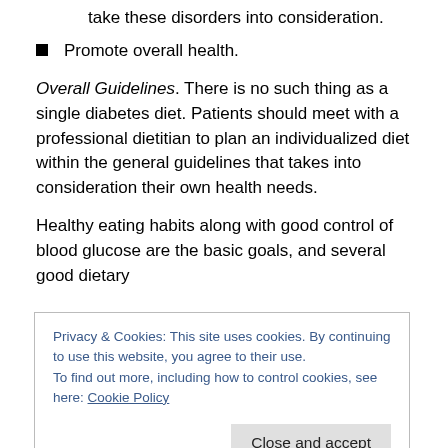take these disorders into consideration.
Promote overall health.
Overall Guidelines. There is no such thing as a single diabetes diet. Patients should meet with a professional dietitian to plan an individualized diet within the general guidelines that takes into consideration their own health needs.
Healthy eating habits along with good control of blood glucose are the basic goals, and several good dietary
Privacy & Cookies: This site uses cookies. By continuing to use this website, you agree to their use.
To find out more, including how to control cookies, see here: Cookie Policy
both important. Best choices are vegetables, fruits,